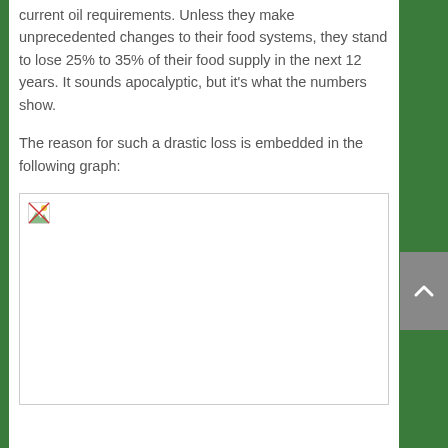current oil requirements. Unless they make unprecedented changes to their food systems, they stand to lose 25% to 35% of their food supply in the next 12 years. It sounds apocalyptic, but it's what the numbers show.
The reason for such a drastic loss is embedded in the following graph:
[Figure (other): A graph image placeholder (broken/loading image icon) representing a chart about food supply loss]